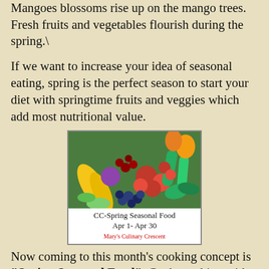Mangoes blossoms rise up on the mango trees. Fresh fruits and vegetables flourish during the spring.\
If we want to increase your idea of seasonal eating, spring is the perfect season to start your diet with springtime fruits and veggies which add most nutritional value.
[Figure (photo): Photo of colorful fresh fruits and vegetables including tomatoes, berries, corn, peppers, cucumbers, and other produce, with a caption reading 'CC-Spring Seasonal Food Apr 1- Apr 30' and a red watermark text at the bottom.]
Now coming to this month's cooking concept is "Spring Seasonal Food". Cook anything with fresh veggies, fruits, herbs as main ingredient that you find in Spring Season (that listed in the below list).